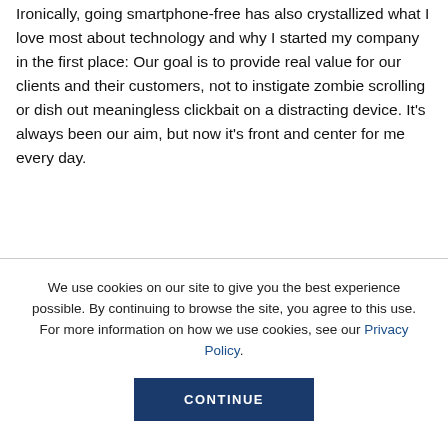windows of browsing social media.

Ironically, going smartphone-free has also crystallized what I love most about technology and why I started my company in the first place: Our goal is to provide real value for our clients and their customers, not to instigate zombie scrolling or dish out meaningless clickbait on a distracting device. It's always been our aim, but now it's front and center for me every day.
We use cookies on our site to give you the best experience possible. By continuing to browse the site, you agree to this use. For more information on how we use cookies, see our Privacy Policy.
CONTINUE